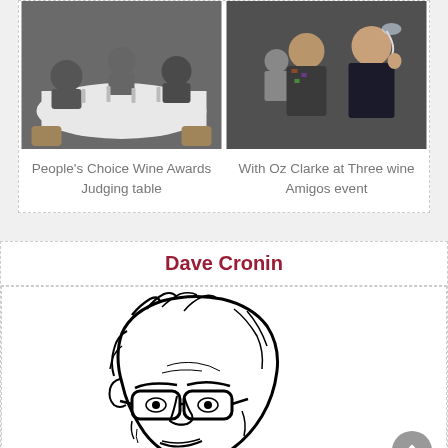[Figure (photo): Two side-by-side photos: left shows people at a wine judging table, right shows a man holding a wine glass at a wine event]
People's Choice Wine Awards Judging table
With Oz Clarke at Three wine Amigos event
Dave Cronin
[Figure (illustration): Black and white line art illustration of a person's face/portrait — Dave Cronin]